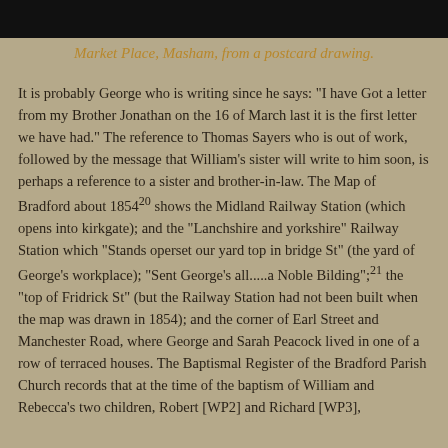[Figure (photo): Black and white image strip at the top of the page, appearing to be a historic photograph of Market Place, Masham.]
Market Place, Masham, from a postcard drawing.
It is probably George who is writing since he says: "I have Got a letter from my Brother Jonathan on the 16 of March last it is the first letter we have had." The reference to Thomas Sayers who is out of work, followed by the message that William's sister will write to him soon, is perhaps a reference to a sister and brother-in-law. The Map of Bradford about 1854²⁰ shows the Midland Railway Station (which opens into kirkgate); and the "Lanchshire and yorkshire" Railway Station which "Stands operset our yard top in bridge St" (the yard of George's workplace); "Sent George's all.....a Noble Bilding";²¹ the "top of Fridrick St" (but the Railway Station had not been built when the map was drawn in 1854); and the corner of Earl Street and Manchester Road, where George and Sarah Peacock lived in one of a row of terraced houses. The Baptismal Register of the Bradford Parish Church records that at the time of the baptism of William and Rebecca's two children, Robert [WP2] and Richard [WP3],